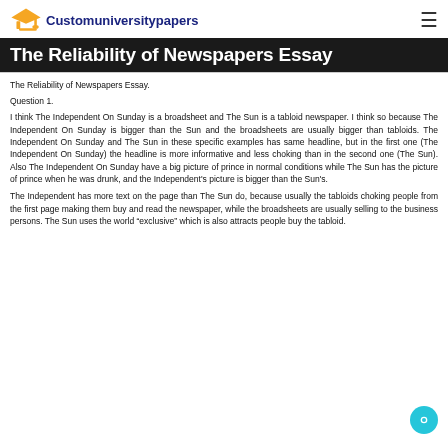Customuniversitypapers
The Reliability of Newspapers Essay
The Reliability of Newspapers Essay.
Question 1.
I think The Independent On Sunday is a broadsheet and The Sun is a tabloid newspaper. I think so because The Independent On Sunday is bigger than the Sun and the broadsheets are usually bigger than tabloids. The Independent On Sunday and The Sun in these specific examples has same headline, but in the first one (The Independent On Sunday) the headline is more informative and less choking than in the second one (The Sun). Also The Independent On Sunday have a big picture of prince in normal conditions while The Sun has the picture of prince when he was drunk, and the Independent's picture is bigger than the Sun's.
The Independent has more text on the page than The Sun do, because usually the tabloids choking people from the first page making them buy and read the newspaper, while the broadsheets are usually selling to the business persons. The Sun uses the world “exclusive” which is also attracts people buy the tabloid.